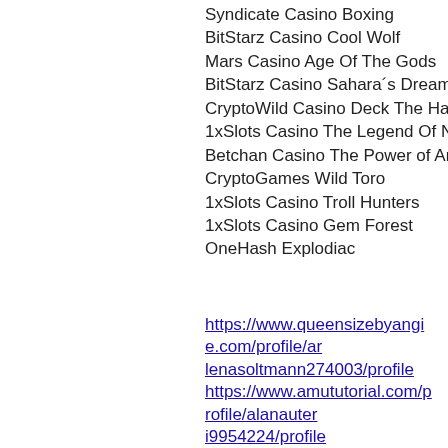Syndicate Casino Boxing
BitStarz Casino Cool Wolf
Mars Casino Age Of The Gods
BitStarz Casino Sahara´s Dreams
CryptoWild Casino Deck The Halls
1xSlots Casino The Legend Of Nezha
Betchan Casino The Power of Ankh
CryptoGames Wild Toro
1xSlots Casino Troll Hunters
1xSlots Casino Gem Forest
OneHash Explodiac
https://www.queensizebyangie.com/profile/arlenasoltmann274003/profile https://www.amututorial.com/profile/alanabuteri9954224/profile https://et.amea-today.com/profile/juanstreva5922826/profile https://www.crossfieldbaptist.com/profile/concepcionstopa9840703/profile